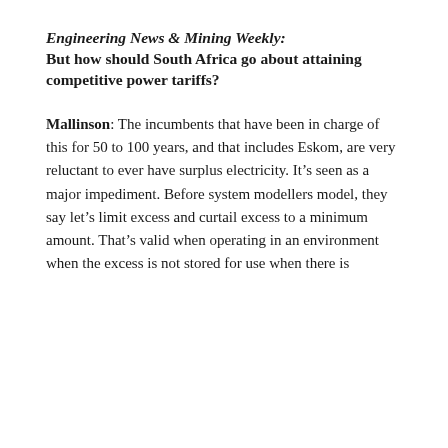Engineering News & Mining Weekly: But how should South Africa go about attaining competitive power tariffs?
Mallinson: The incumbents that have been in charge of this for 50 to 100 years, and that includes Eskom, are very reluctant to ever have surplus electricity. It’s seen as a major impediment. Before system modellers model, they say let’s limit excess and curtail excess to a minimum amount. That’s valid when operating in an environment when the excess is not stored for use when there is